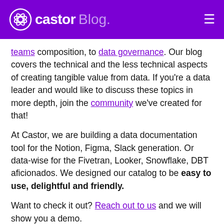castor Blog.
teams composition, to data governance. Our blog covers the technical and the less technical aspects of creating tangible value from data. If you're a data leader and would like to discuss these topics in more depth, join the community we've created for that!
At Castor, we are building a data documentation tool for the Notion, Figma, Slack generation. Or data-wise for the Fivetran, Looker, Snowflake, DBT aficionados. We designed our catalog to be easy to use, delightful and friendly.
Want to check it out? Reach out to us and we will show you a demo.